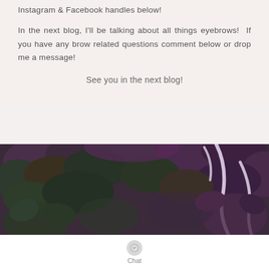Instagram & Facebook handles below!
In the next blog, I'll be talking about all things eyebrows!  If you have any brow related questions comment below or drop me a message!
See you in the next blog!
[Figure (photo): Top-down photo of a person with red/auburn hair and a leopard print headband, surrounded by purple and green leafy plants, with purple neon signage visible in the background.]
Chat